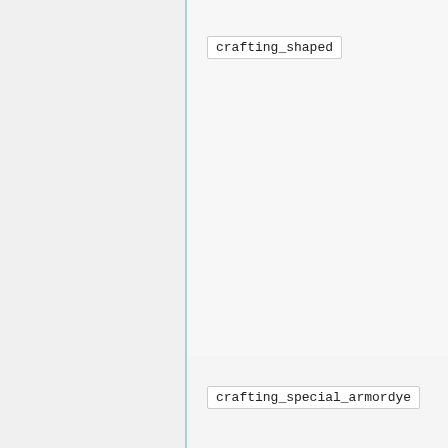crafting_shaped
crafting_special_armordye